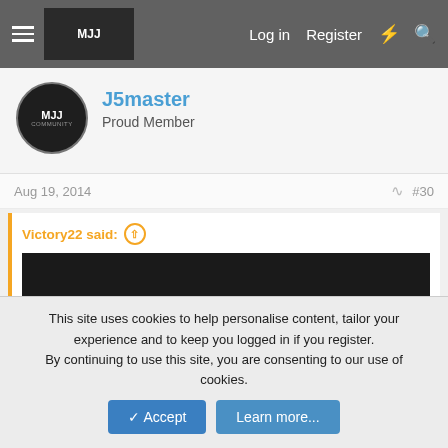Log in  Register
J5master
Proud Member
Aug 19, 2014  #30
Victory22 said:
[Figure (screenshot): Embedded video player showing 'Video unavailable – This video is unavailable' with a warning icon, dark background fading to grey, and an orange 'Click to expand...' link below.]
Click to expand...
This site uses cookies to help personalise content, tailor your experience and to keep you logged in if you register.
By continuing to use this site, you are consenting to our use of cookies.